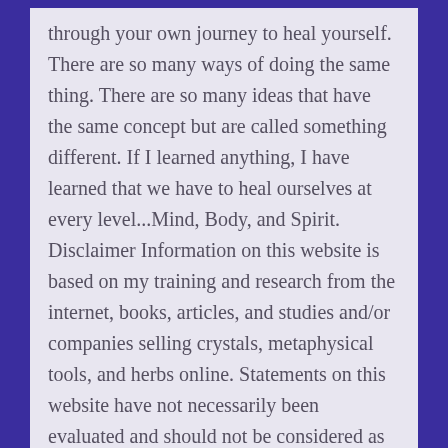through your own journey to heal yourself. There are so many ways of doing the same thing. There are so many ideas that have the same concept but are called something different. If I learned anything, I have learned that we have to heal ourselves at every level...Mind, Body, and Spirit. Disclaimer Information on this website is based on my training and research from the internet, books, articles, and studies and/or companies selling crystals, metaphysical tools, and herbs online. Statements on this website have not necessarily been evaluated and should not be considered as medical advice. Any products are not intended to diagnose, treat, cure or prevent any illness or disease. for diagnosis or treatment consult your physician. Many find that when they go back to